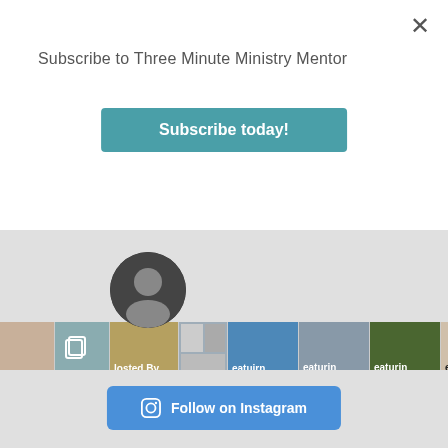Subscribe to Three Minute Ministry Mentor
Subscribe today!
[Figure (screenshot): Instagram post grid showing multiple video thumbnails with play buttons: panels featuring 'Hosted By Campbell', 'Featuring Jake Hall', 'Featuring Teresa Jefferson Snorton', 'Featuring Timothy People', 'Featuring McClelland–'. Bottom text describes roles including Senior Minister, Pastor of First Presbyterian Church, etc.]
Follow on Instagram